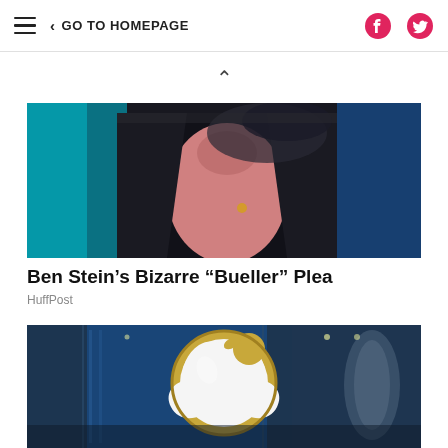≡  < GO TO HOMEPAGE
[Figure (photo): Person in dark blazer with pink/salmon shirt, blurred motion, teal/blue background lighting — cropped upper body shot]
Ben Stein's Bizarre “Bueller” Plea
HuffPost
[Figure (photo): Apple Store exterior showing illuminated Apple logo (white apple on gold ring) against glass facade with blue interior lighting and reflections]